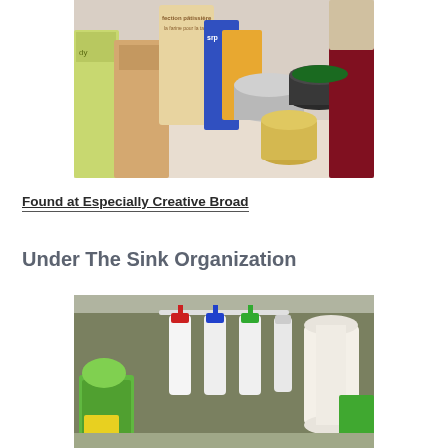[Figure (photo): A cluttered pantry or cabinet shelf with various food items including cans, boxes, jars, and packages in French labels]
Found at Especially Creative Broad
Under The Sink Organization
[Figure (photo): Under-sink storage organization with spray bottles hanging from a rod, a paper towel roll, green cleaning supplies and organizers]